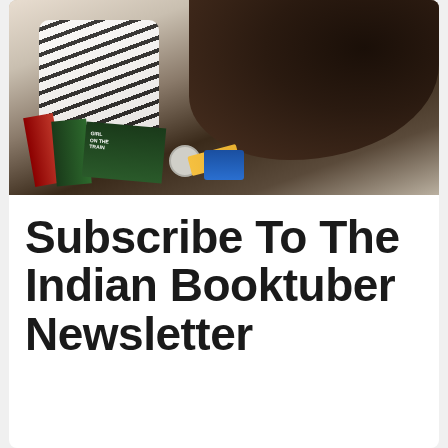[Figure (photo): Person with long dark hair wearing a striped shirt, leaning over a stack of books including what appears to be 'Girl on the Train', with pencils, a cup lid, and a blue item on a light surface]
Subscribe To The Indian Booktuber Newsletter